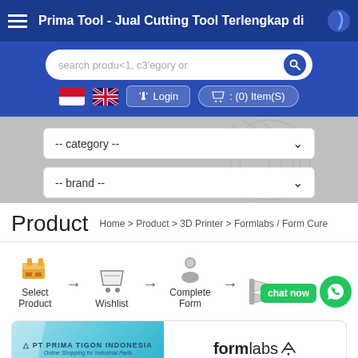Prima Tool - Jual Cutting Tool Terlengkap di
search product, category or ...
Login   : (0) Item(S)
[Figure (screenshot): Category and brand dropdown filters on grey background]
Product
Home > Product > 3D Printer > Formlabs / Form Cure
[Figure (infographic): Order steps: Select Product → Wishlist → Complete Form → Finish, with chat now and WhatsApp buttons]
[Figure (logo): PT Prima Tigon Indonesia logo and Formlabs logo at bottom of page]